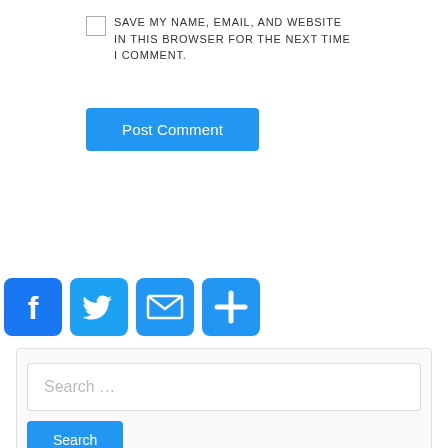SAVE MY NAME, EMAIL, AND WEBSITE IN THIS BROWSER FOR THE NEXT TIME I COMMENT.
Post Comment
[Figure (infographic): Social share icons: Facebook (blue f), Twitter (blue bird), Email (blue envelope), More/Plus (blue plus)]
Search ...
Search